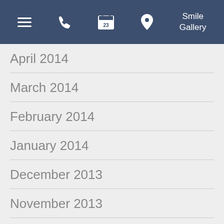Smile Gallery
April 2014
March 2014
February 2014
January 2014
December 2013
November 2013
October 2013
September 2013
August 2013
June 2013